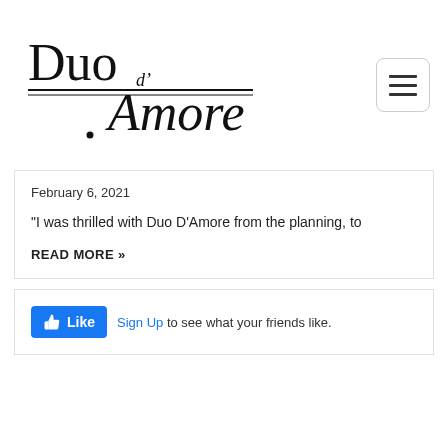[Figure (logo): Duo d'Amore logo with decorative calligraphic script and violin bow illustration]
February 6, 2021
“I was thrilled with Duo D’Amore from the planning, to
READ MORE »
[Figure (screenshot): Facebook Like widget with Sign Up link and text: Sign Up to see what your friends like.]